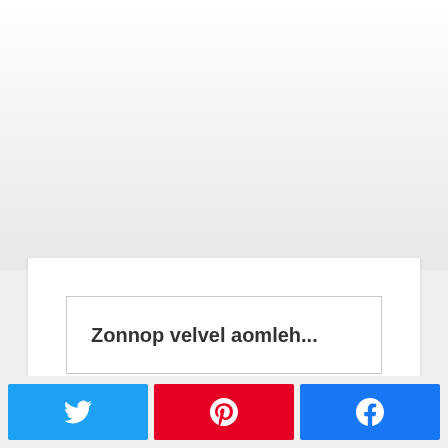[Figure (screenshot): Top area with light grey gradient background, appears to be a webpage screenshot]
Zonnop velvel aomleh...
[Figure (infographic): Three social share buttons: Twitter (blue), Pinterest (red), Facebook (blue)]